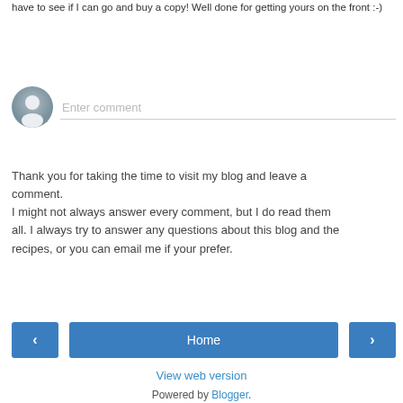have to see if I can go and buy a copy! Well done for getting yours on the front :-)
Reply
[Figure (other): User avatar placeholder icon (grey silhouette) next to an 'Enter comment' input field with a bottom border]
Thank you for taking the time to visit my blog and leave a comment.
I might not always answer every comment, but I do read them all. I always try to answer any questions about this blog and the recipes, or you can email me if your prefer.
[Figure (other): Navigation buttons: left arrow button, Home button, right arrow button]
View web version
Powered by Blogger.